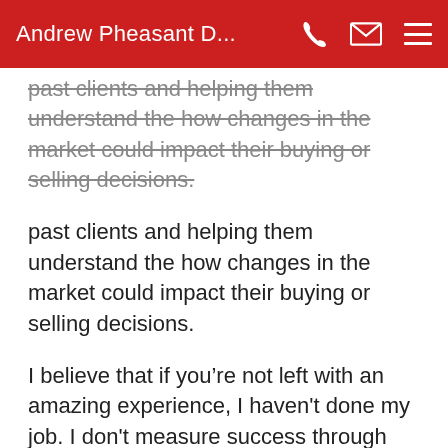Andrew Pheasant D...
past clients and helping them understand the how changes in the market could impact their buying or selling decisions.
I believe that if you’re not left with an amazing experience, I haven't done my job. I don't measure success through achievements or awards, but through the satisfaction of my clients. I take great pride in the relationships I build and always work relentlessly on my client's behalf to help them achieve their real estate goals.
Today’s buyers and sellers need a trusted resource that can guide them through the complex world of real estate. With my extensive knowledge and commitment to providing only the best and most timely information to my clients, I am your go-to source for real estate